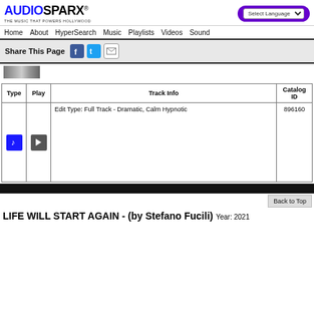AUDIOSPARX - THE MUSIC THAT POWERS HOLLYWOOD
[Figure (logo): AudioSparx logo with text 'THE MUSIC THAT POWERS HOLLYWOOD']
Select Language
Home  About  HyperSearch  Music  Playlists  Videos  Sound
Share This Page
[Figure (photo): Small thumbnail image]
| Type | Play | Track Info | Catalog ID |
| --- | --- | --- | --- |
| [music icon] | [play icon] | Edit Type: Full Track - Dramatic, Calm Hypnotic | 896160 |
Back to Top
LIFE WILL START AGAIN - (by Stefano Fucili)  Year: 2021